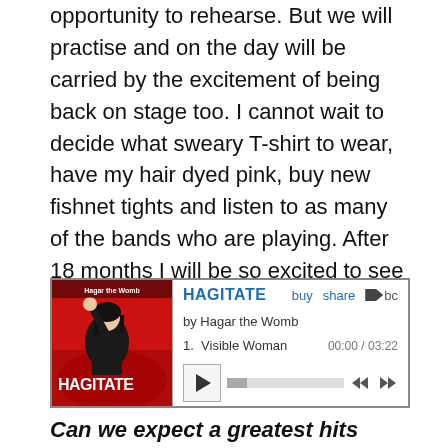opportunity to rehearse. But we will practise and on the day will be carried by the excitement of being back on stage too. I cannot wait to decide what sweary T-shirt to wear, have my hair dyed pink, buy new fishnet tights and listen to as many of the bands who are playing. After 18 months I will be so excited to see Mitch, I may even not attack him on stage.
[Figure (screenshot): Bandcamp music player widget showing album 'HAGITATE' by Hagar the Womb. Track 1: Visible Woman, duration 03:22. Player shows play button, progress bar, and skip controls. Album art shows a woman with fist raised against a red background with text 'Hagar the Womb HAGITATE'.]
Can we expect a greatest hits Hagiography or might be you be trying out any new material?